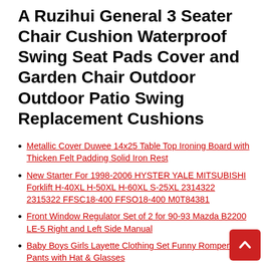A Ruzihui General 3 Seater Chair Cushion Waterproof Swing Seat Pads Cover and Garden Chair Outdoor Outdoor Patio Swing Replacement Cushions
Metallic Cover Duwee 14x25 Table Top Ironing Board with Thicken Felt Padding Solid Iron Rest
New Starter For 1998-2006 HYSTER YALE MITSUBISHI Forklift H-40XL H-50XL H-60XL S-25XL 2314322 2315322 FFSC18-400 FFSO18-400 M0T84381
Front Window Regulator Set of 2 for 90-93 Mazda B2200 LE-5 Right and Left Side Manual
Baby Boys Girls Layette Clothing Set Funny Romper Pants with Hat & Glasses